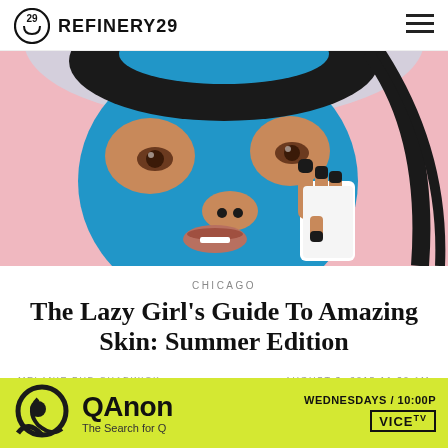REFINERY29
[Figure (illustration): Illustrated portrait of a woman applying a blue face mask, holding a white sheet patch with black-painted nails, pink background]
CHICAGO
The Lazy Girl's Guide To Amazing Skin: Summer Edition
MELANIE BUD CHADWICK   AUGUST 3, 2015 11:30 AM
[Figure (illustration): QAnon: The Search for Q advertisement banner. Yellow/green background with QAnon logo and VICE TV branding. Text: WEDNESDAYS / 10:00P]